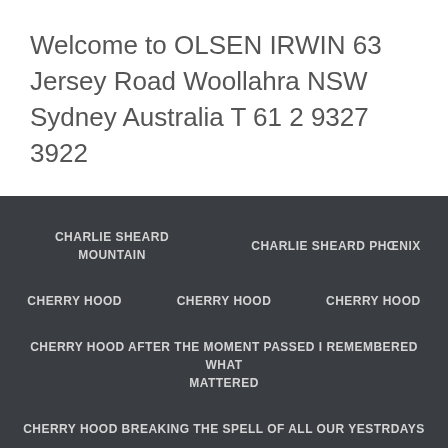Welcome to OLSEN IRWIN 63 Jersey Road Woollahra NSW Sydney Australia T 61 2 9327 3922
CHARLIE SHEARD MOUNTAIN
CHARLIE SHEARD PHŒNIX
CHERRY HOOD
CHERRY HOOD
CHERRY HOOD
CHERRY HOOD AFTER THE MOMENT PASSED I REMEMBERED WHAT MATTERED
CHERRY HOOD BREAKING THE SPELL OF ALL OUR YESTRDAYS
CHERRY HOOD ESTELLA BUTTERFLY
CHERRY HOOD FABULOUS FANTASTIC